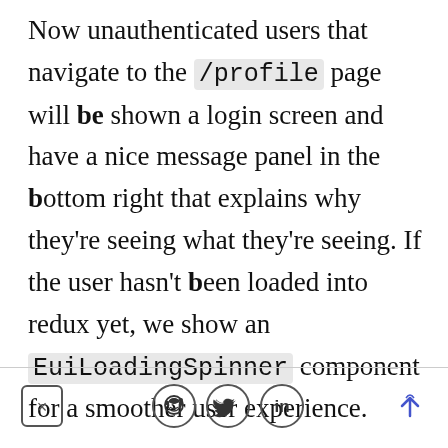Now unauthenticated users that navigate to the /profile page will be shown a login screen and have a nice message panel in the bottom right that explains why they're seeing what they're seeing. If the user hasn't been loaded into redux yet, we show an EuiLoadingSpinner component for a smoother user experience.
[Figure (other): Footer bar with close button (x), Reddit icon, Twitter bird icon, LinkedIn (in) icon, and scroll-up arrow icon]